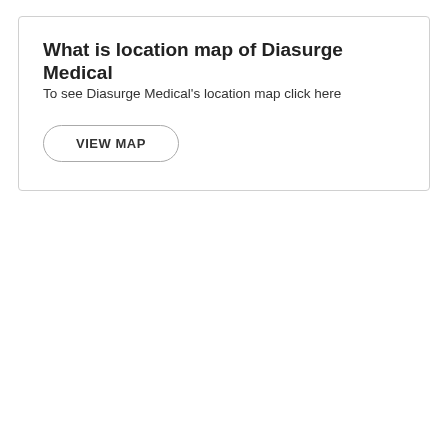What is location map of Diasurge Medical
To see Diasurge Medical's location map click here
VIEW MAP